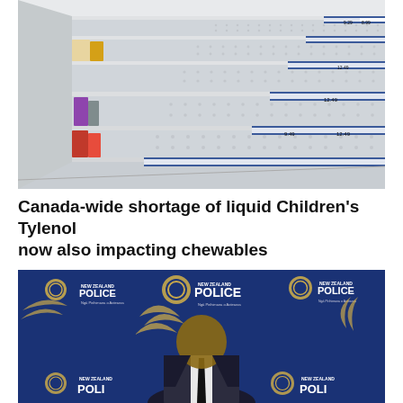[Figure (photo): Empty store shelves in a pharmacy/retail store aisle with price tags visible showing prices like 8.99, 9.29, 9.49, 12.49, 12.49 — depicting a shortage of children's medicine.]
Canada-wide shortage of liquid Children's Tylenol now also impacting chewables
[Figure (photo): A man in a suit and tie speaking at a New Zealand Police press conference backdrop with multiple NZ Police logos.]